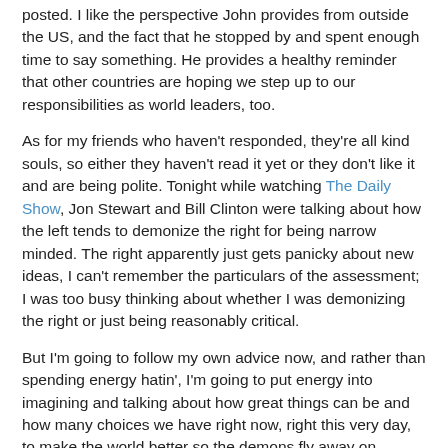posted.  I like the perspective John provides from outside the US, and the fact that he stopped by and spent enough time to say something.  He provides a healthy reminder that other countries are hoping we step up to our responsibilities as world leaders, too.
As for my friends who haven't responded, they're all kind souls, so either they haven't read it yet or they don't like it and are being polite.  Tonight while watching The Daily Show, Jon Stewart and Bill Clinton were talking about how the left tends to demonize the right for being narrow minded.  The right apparently just gets panicky about new ideas, I can't remember the particulars of the assessment; I was too busy thinking about whether I was demonizing the right or just being reasonably critical.
But I'm going to follow my own advice now, and rather than spending energy hatin', I'm going to put energy into imagining and talking about how great things can be and how many choices we have right now, right this very day, to make the world better so the demons fly away on shriveled wings, back to their lairs.  Oops.  I slipped.